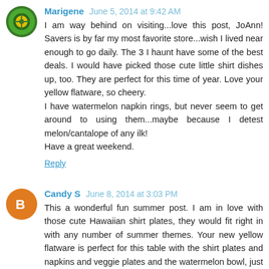[Figure (photo): Avatar image for Marigene, circular green themed icon]
Marigene June 5, 2014 at 9:42 AM
I am way behind on visiting...love this post, JoAnn! Savers is by far my most favorite store...wish I lived near enough to go daily. The 3 I haunt have some of the best deals. I would have picked those cute little shirt dishes up, too. They are perfect for this time of year. Love your yellow flatware, so cheery.
I have watermelon napkin rings, but never seem to get around to using them...maybe because I detest melon/cantalope of any ilk!
Have a great weekend.
Reply
[Figure (logo): Orange circle avatar icon for Candy S with white blogger B symbol]
Candy S June 8, 2014 at 3:03 PM
This a wonderful fun summer post. I am in love with those cute Hawaiian shirt plates, they would fit right in with any number of summer themes. Your new yellow flatware is perfect for this table with the shirt plates and napkins and veggie plates and the watermelon bowl, just perfect. I love plaid any time of the year, but most especially for summer